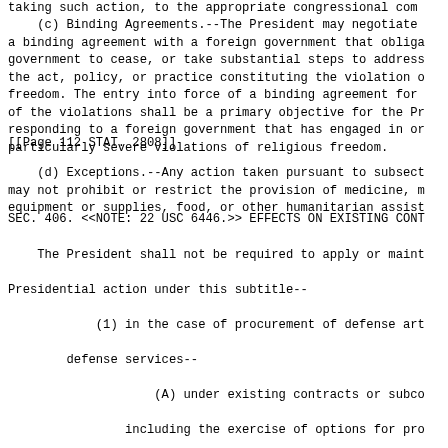taking such action, to the appropriate congressional com
(c) Binding Agreements.--The President may negotiate a binding agreement with a foreign government that obliga government to cease, or take substantial steps to address the act, policy, or practice constituting the violation o freedom. The entry into force of a binding agreement for of the violations shall be a primary objective for the Pr responding to a foreign government that has engaged in or particularly severe violations of religious freedom.
[[Page 112 STAT. 2808]]
(d) Exceptions.--Any action taken pursuant to subsect may not prohibit or restrict the provision of medicine, m equipment or supplies, food, or other humanitarian assist
SEC. 406. <<NOTE: 22 USC 6446.>> EFFECTS ON EXISTING CONT
The President shall not be required to apply or maint Presidential action under this subtitle--
        (1) in the case of procurement of defense art    defense services--
            (A) under existing contracts or subco     including the exercise of options for pro     quantities, to satisfy requirements essen     national security of the United States;
            (B) if the President determines in wr     reports to Congress that the person or ot     which the Presidential action would other     is a sole source supplier of the defense     services, that the defense articles or se